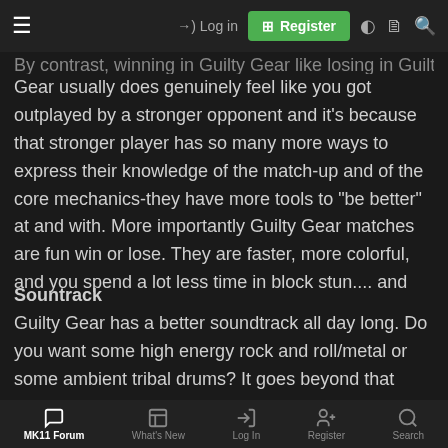Log in | Register
By contrast, winning in Guilty Gear like losing in Guilty Gear usually does genuinely feel like you got outplayed by a stronger opponent and it's because that stronger player has so many more ways to express their knowledge of the match-up and of the core mechanics-they have more tools to "be better" at and with. More importantly Guilty Gear matches are fun win or lose. They are faster, more colorful, and you spend a lot less time in block stun.... and
Sountrack
Guilty Gear has a better soundtrack all day long. Do you want some high energy rock and roll/metal or some ambient tribal drums? It goes beyond that though. Good sound design is super important in a fighting game. The reason most fighting game characters yell their special moves is because it serves as an important audio queue to
MK11 Forum | What's New | Log In | Register | Search